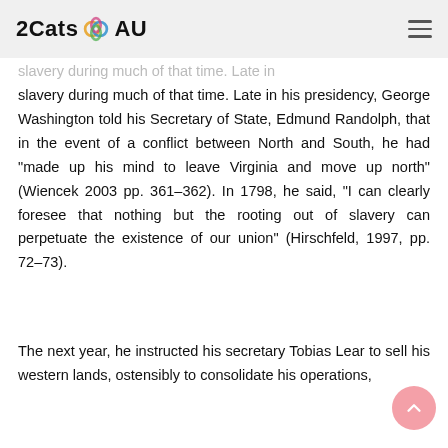2Cats AU
slavery during much of that time. Late in his presidency, George Washington told his Secretary of State, Edmund Randolph, that in the event of a conflict between North and South, he had "made up his mind to leave Virginia and move up north" (Wiencek 2003 pp. 361–362). In 1798, he said, "I can clearly foresee that nothing but the rooting out of slavery can perpetuate the existence of our union" (Hirschfeld, 1997, pp. 72–73).
The next year, he instructed his secretary Tobias Lear to sell his western lands, ostensibly to consolidate his operations,